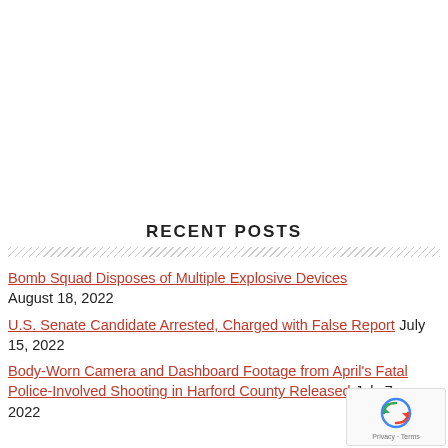RECENT POSTS
Bomb Squad Disposes of Multiple Explosive Devices August 18, 2022
U.S. Senate Candidate Arrested, Charged with False Report July 15, 2022
Body-Worn Camera and Dashboard Footage from April's Fatal Police-Involved Shooting in Harford County Released July 7, 2022